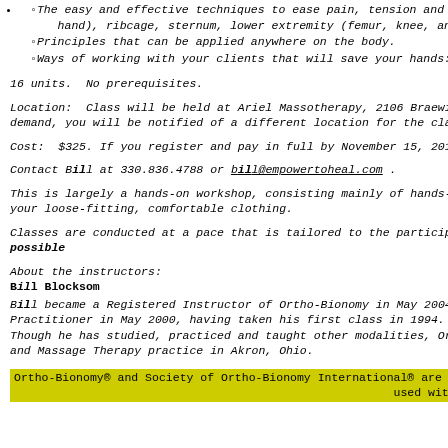The easy and effective techniques to ease pain, tension and hand), ribcage, sternum, lower extremity (femur, knee, ankle,
Principles that can be applied anywhere on the body.
Ways of working with your clients that will save your hands:
16 units.  No prerequisites.
Location:  Class will be held at Ariel Massotherapy, 2106 Braewick Cir demand, you will be notified of a different location for the class.
Cost:  $325. If you register and pay in full by November 15, 2019, the c
Contact Bill at 330.836.4788 or bill@empowertoheal.com .
This is largely a hands-on workshop, consisting mainly of hands-on an your loose-fitting, comfortable clothing.
Classes are conducted at a pace that is tailored to the participants. possible
About the instructors:
Bill Blocksom
Bill became a Registered Instructor of Ortho-Bionomy in May 2004, Practitioner in May 2000, having taken his first class in 1994.  He ha Though he has studied, practiced and taught other modalities, Ortho and Massage Therapy practice in Akron, Ohio.
Ortho-Bionomy® and Society of Ortho-Bionomy International® are tra used with p